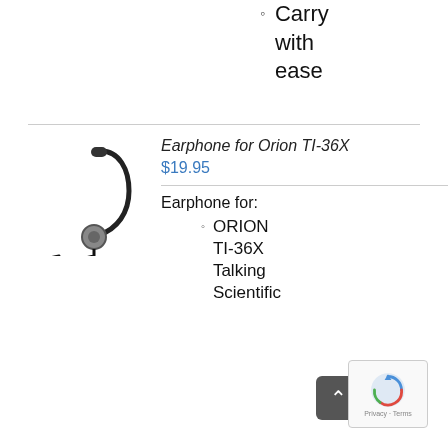Carry with ease
[Figure (photo): Earphone with ear hook and coiled cable for Orion TI-36X talking scientific calculator]
Earphone for Orion TI-36X
$19.95
Earphone for:
ORION TI-36X Talking Scientific
[Figure (other): Scroll to top button (dark gray rounded square with upward chevron arrow)]
[Figure (logo): Google reCAPTCHA badge with Privacy and Terms text]